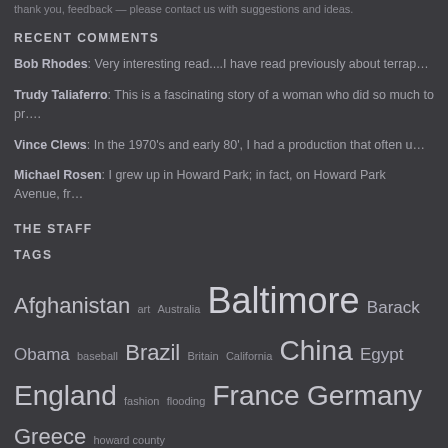thank you, feedback — please contact us with suggestions and ideas.
RECENT COMMENTS
Bob Rhodes: Very interesting read....I have read previously about terrap…
Trudy Taliaferro: This is a fascinating story of a woman who did so much to pr….
Vince Clews: In the 1970's and early 80', I had a production that often u…
Michael Rosen: I grew up in Howard Park; in fact, on Howard Park Avenue, fr…
THE STAFF
TAGS
Afghanistan art Australia Baltimore Barack Obama baseball Brazil Britain California China Egypt England fashion flooding France Germany Greece howard county